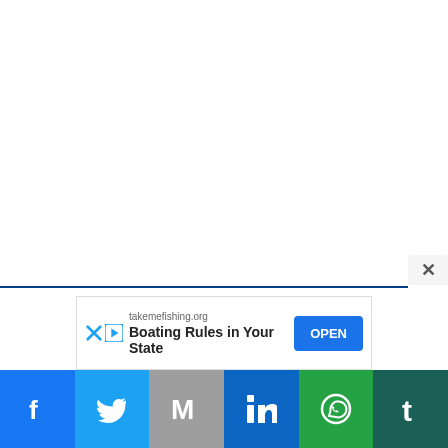[Figure (screenshot): White empty content area with dotted top border, blue horizontal line near bottom, and close (X) button on right side]
takemefishing.org
Boating Rules in Your State
OPEN
[Figure (infographic): Social share bar with icons: Facebook, Twitter, Gmail (M), LinkedIn, WhatsApp, Tumblr]